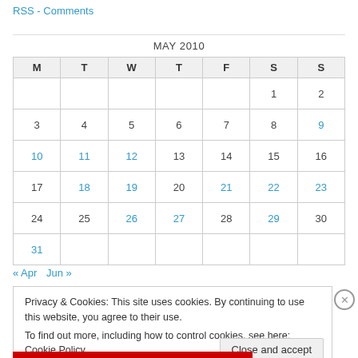RSS - Comments
| M | T | W | T | F | S | S |
| --- | --- | --- | --- | --- | --- | --- |
|  |  |  |  |  | 1 | 2 |
| 3 | 4 | 5 | 6 | 7 | 8 | 9 |
| 10 | 11 | 12 | 13 | 14 | 15 | 16 |
| 17 | 18 | 19 | 20 | 21 | 22 | 23 |
| 24 | 25 | 26 | 27 | 28 | 29 | 30 |
| 31 |  |  |  |  |  |  |
« Apr   Jun »
Privacy & Cookies: This site uses cookies. By continuing to use this website, you agree to their use. To find out more, including how to control cookies, see here: Cookie Policy
Close and accept